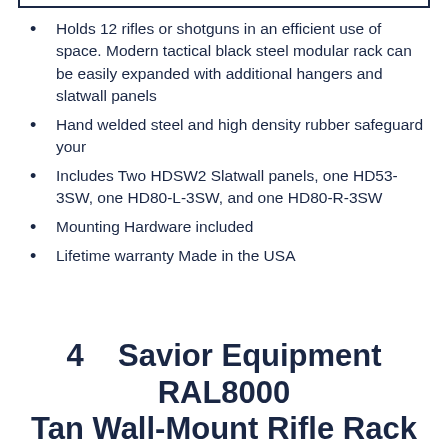Holds 12 rifles or shotguns in an efficient use of space. Modern tactical black steel modular rack can be easily expanded with additional hangers and slatwall panels
Hand welded steel and high density rubber safeguard your
Includes Two HDSW2 Slatwall panels, one HD53-3SW, one HD80-L-3SW, and one HD80-R-3SW
Mounting Hardware included
Lifetime warranty Made in the USA
4    Savior Equipment RAL8000 Tan Wall-Mount Rifle Rack